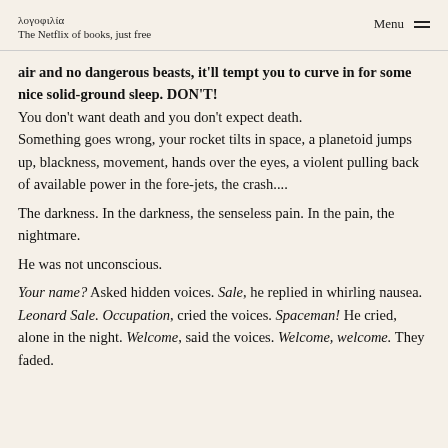λογοφιλία
The Netflix of books, just free
air and no dangerous beasts, it'll tempt you to curve in for some nice solid-ground sleep. DON'T! You don't want death and you don't expect death. Something goes wrong, your rocket tilts in space, a planetoid jumps up, blackness, movement, hands over the eyes, a violent pulling back of available power in the fore-jets, the crash.... The darkness. In the darkness, the senseless pain. In the pain, the nightmare. He was not unconscious. Your name? Asked hidden voices. Sale, he replied in whirling nausea. Leonard Sale. Occupation, cried the voices. Spaceman! He cried, alone in the night. Welcome, said the voices. Welcome, welcome. They faded.